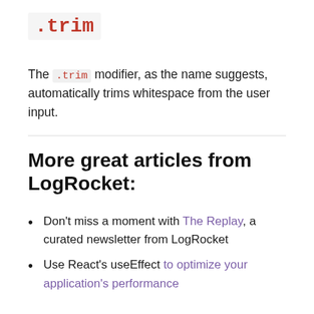.trim
The .trim modifier, as the name suggests, automatically trims whitespace from the user input.
More great articles from LogRocket:
Don't miss a moment with The Replay, a curated newsletter from LogRocket
Use React's useEffect to optimize your application's performance